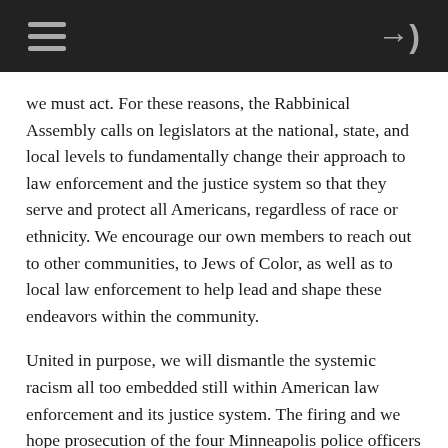≡  →)
we must act. For these reasons, the Rabbinical Assembly calls on legislators at the national, state, and local levels to fundamentally change their approach to law enforcement and the justice system so that they serve and protect all Americans, regardless of race or ethnicity. We encourage our own members to reach out to other communities, to Jews of Color, as well as to local law enforcement to help lead and shape these endeavors within the community.
United in purpose, we will dismantle the systemic racism all too embedded still within American law enforcement and its justice system. The firing and we hope prosecution of the four Minneapolis police officers involved in this one egregious murder is a necessary step, but it cannot be the only action against structural injustice that has only been continuing and continues to...